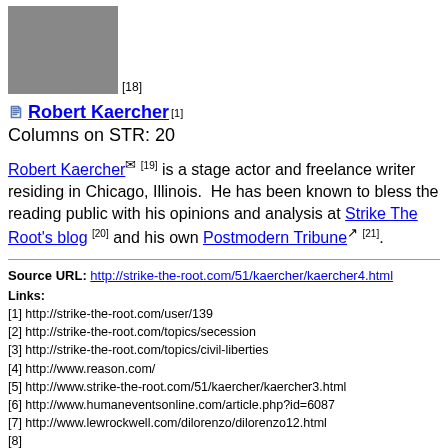[Figure (photo): Headshot photo of Robert Kaercher, a man in a dark suit with a blue tie, against a dark background.]
[18]
🖹 Robert Kaercher [1]
Columns on STR: 20
Robert Kaercher [19] is a stage actor and freelance writer residing in Chicago, Illinois. He has been known to bless the reading public with his opinions and analysis at Strike The Root's blog [20] and his own Postmodern Tribune [21].
Source URL: http://strike-the-root.com/51/kaercher/kaercher4.html
Links:
[1] http://strike-the-root.com/user/139
[2] http://strike-the-root.com/topics/secession
[3] http://strike-the-root.com/topics/civil-liberties
[4] http://www.reason.com/
[5] http://www.strike-the-root.com/51/kaercher/kaercher3.html
[6] http://www.humaneventsonline.com/article.php?id=6087
[7] http://www.lewrockwell.com/dilorenzo/dilorenzo12.html
[8]
http://www.boston.com/news/globe/editorial_opinion/oped/articles/2005/02/
[9] http://leagueofthesouth.net/index.php